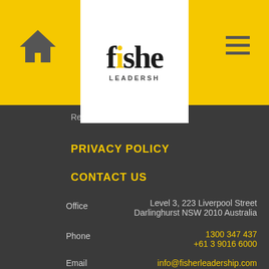[Figure (logo): Fisher Leadership logo with home icon, hamburger menu, and central white panel showing 'fishe' and 'LEADERSH' text on yellow background]
Register With Us
PRIVACY POLICY
CONTACT US
Office    Level 3, 223 Liverpool Street
          Darlinghurst NSW 2010 Australia
Phone    1300 347 437
          +61 3 9016 6000
Email    info@fisherleadership.com
Office    Level 1, 31 Great South Road Epsom